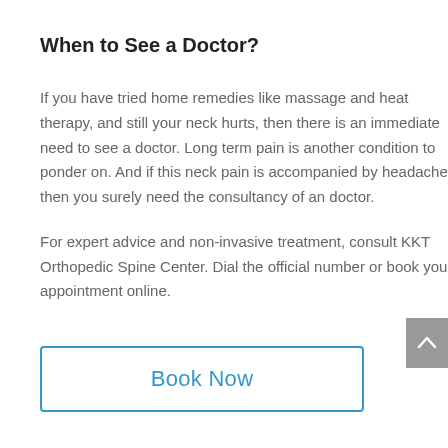When to See a Doctor?
If you have tried home remedies like massage and heat therapy, and still your neck hurts, then there is an immediate need to see a doctor. Long term pain is another condition to ponder on. And if this neck pain is accompanied by headache, then you surely need the consultancy of an doctor.
For expert advice and non-invasive treatment, consult KKT Orthopedic Spine Center. Dial the official number or book your appointment online.
Book Now